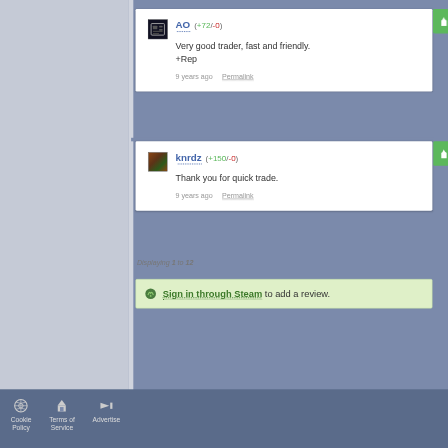[Figure (screenshot): Steam trading review card for user AO with +72/-0 reputation. Review text: 'Very good trader, fast and friendly. +Rep'. Posted 9 years ago with Permalink link. Thumbs up green button on right.]
[Figure (screenshot): Steam trading review card for user knrdz with +150/-0 reputation. Review text: 'Thank you for quick trade.' Posted 9 years ago with Permalink link. Thumbs up green button on right.]
Displaying 1 to 12
Sign in through Steam to add a review.
Cookie Policy   Terms of Service   Advertise